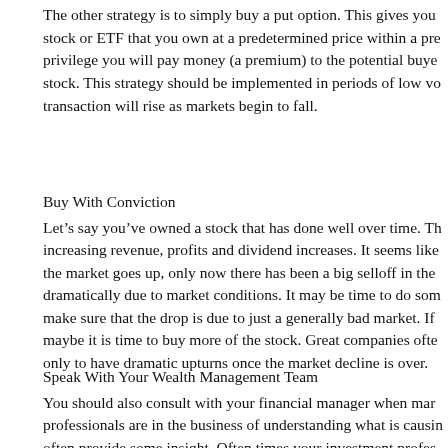The other strategy is to simply buy a put option. This gives you stock or ETF that you own at a predetermined price within a pre privilege you will pay money (a premium) to the potential buye stock. This strategy should be implemented in periods of low vo transaction will rise as markets begin to fall.
Buy With Conviction
Let's say you've owned a stock that has done well over time. Th increasing revenue, profits and dividend increases. It seems like the market goes up, only now there has been a big selloff in the dramatically due to market conditions. It may be time to do som make sure that the drop is due to just a generally bad market. If maybe it is time to buy more of the stock. Great companies ofte only to have dramatic upturns once the market decline is over.
Speak With Your Wealth Management Team
You should also consult with your financial manager when mar professionals are in the business of understanding what is causin often provide some insight. Often times your investment profes